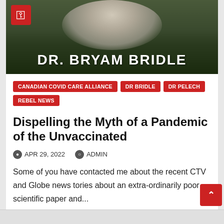[Figure (photo): Photo of Dr. Bryam Bridle with camera icon overlay and name text at bottom]
CANADIAN COVID CARE ALLIANCE
DR BRIDLE
DR PELECH
REBEL NEWS
Dispelling the Myth of a Pandemic of the Unvaccinated
APR 29, 2022   ADMIN
Some of you have contacted me about the recent CTV and Globe news tories about an extra-ordinarily poor scientific paper and...